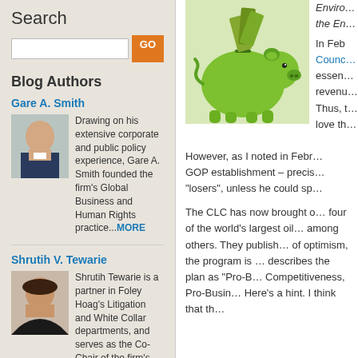Search
GO (search button)
Blog Authors
Gare A. Smith
Drawing on his extensive corporate and public policy experience, Gare A. Smith founded the firm's Global Business and Human Rights practice...MORE
Shrutih V. Tewarie
Shrutih Tewarie is a partner in Foley Hoag's Litigation and White Collar departments, and serves as the Co-Chair of the firm's Trade Sanctions and Export Controls practice. ...MORE
Isa Mirza
[Figure (photo): Green piggy bank with dollar bills sticking out of the top slot]
Enviro… the En…
In Feb… Counc… essen… revenu… Thus, t… love th…
However, as I noted in Febr… GOP establishment – precis… "losers", unless he could sp…
The CLC has now brought o… four of the world's largest oil… among others.  They publish… of optimism, the program is … describes the plan as "Pro-B… Competitiveness, Pro-Busin… Here's a hint.  I think that th…